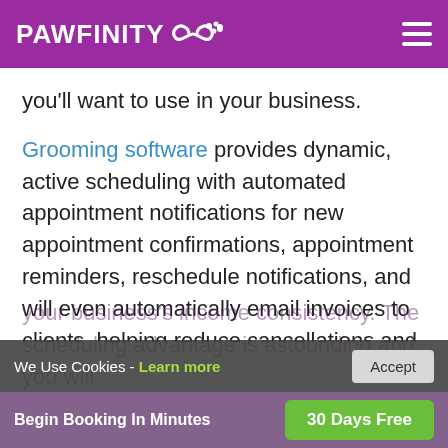PAWFINITY ∞🐾
you'll want to use in your business.
Grooming software provides dynamic, active scheduling with automated appointment notifications for new appointment confirmations, appointment reminders, reschedule notifications, and will even automatically email invoices to clients, helping reduce cancellations and improve
your business's income consistency. The scheduling advantage is astounding and you will...
We Use Cookies - Learn more   Accept
Begin Booking In Minutes   30 Days Free